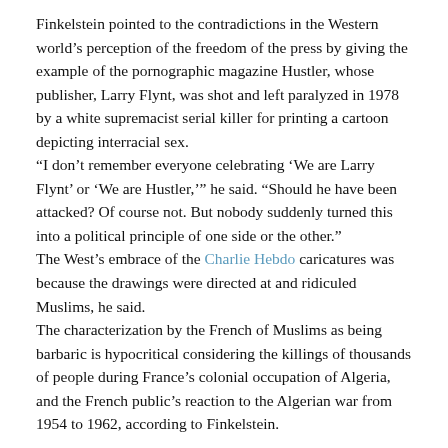Finkelstein pointed to the contradictions in the Western world's perception of the freedom of the press by giving the example of the pornographic magazine Hustler, whose publisher, Larry Flynt, was shot and left paralyzed in 1978 by a white supremacist serial killer for printing a cartoon depicting interracial sex.
“I don’t remember everyone celebrating ‘We are Larry Flynt’ or ‘We are Hustler,’” he said. “Should he have been attacked? Of course not. But nobody suddenly turned this into a political principle of one side or the other.”
The West’s embrace of the Charlie Hebdo caricatures was because the drawings were directed at and ridiculed Muslims, he said.
The characterization by the French of Muslims as being barbaric is hypocritical considering the killings of thousands of people during France’s colonial occupation of Algeria, and the French public’s reaction to the Algerian war from 1954 to 1962, according to Finkelstein.